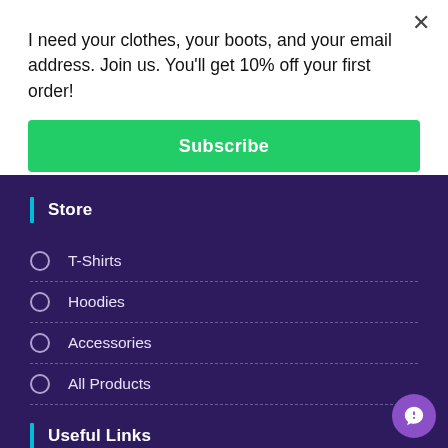I need your clothes, your boots, and your email address. Join us. You'll get 10% off your first order!
× (close button)
Subscribe
Store
T-Shirts
Hoodies
Accessories
All Products
Useful Links
About Us
Contact Us
Shipping & Tracking